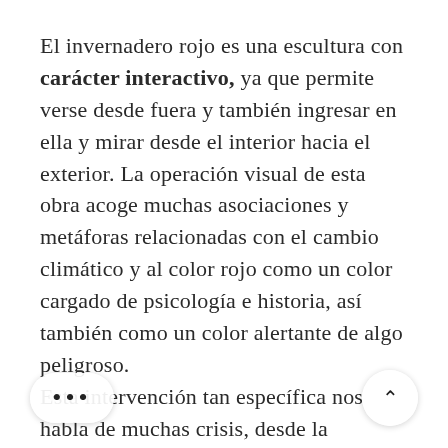El invernadero rojo es una escultura con carácter interactivo, ya que permite verse desde fuera y también ingresar en ella y mirar desde el interior hacia el exterior. La operación visual de esta obra acoge muchas asociaciones y metáforas relacionadas con el cambio climático y al color rojo como un color cargado de psicología e historia, así también como un color alertante de algo peligroso. Esta intervención tan específica nos habla de muchas crisis, desde la medioambiental hasta la económica, haciéndolo mediante la escultura, la instalación, la arquitectura y lo gráfico, proyectándose así entre lo material y la ilusión, lo social y lo